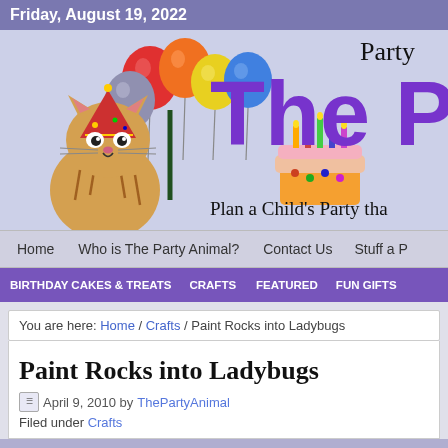Friday, August 19, 2022
[Figure (illustration): Website banner for The Party Animal blog showing a cartoon cat with a party hat and balloons, a birthday cake, and the site title 'The Pa...' in purple bold text with 'Party' in handwritten style and 'Plan a Child's Party tha...' as subtitle]
Home   Who is The Party Animal?   Contact Us   Stuff a P...
BIRTHDAY CAKES & TREATS   CRAFTS   FEATURED   FUN GIFTS
You are here: Home / Crafts / Paint Rocks into Ladybugs
Paint Rocks into Ladybugs
April 9, 2010 by ThePartyAnimal
Filed under Crafts